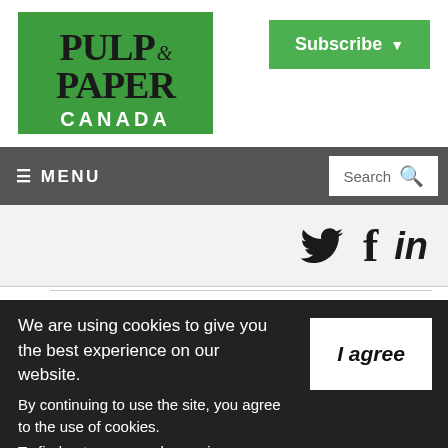[Figure (logo): Pulp & Paper Canada logo — green rectangle with black serif PULP & PAPER text and white sans-serif CANADA text]
[Figure (other): Subscribe button — green background with white bold text 'Subscribe' and dropdown arrow]
≡ MENU   Search 🔍
[Figure (other): Social media icons: Twitter bird, Facebook f, LinkedIn in]
#PPCT Pulp & Paper Canada @pulppapercanada · 18 Aug op10U
nder40: Meet the future leaders of the Canadian
We are using cookies to give you the best experience on our website. By continuing to use the site, you agree to the use of cookies. To find out more, read our privacy policy.
[Figure (other): I agree button — white rectangle with bold italic text 'I agree']